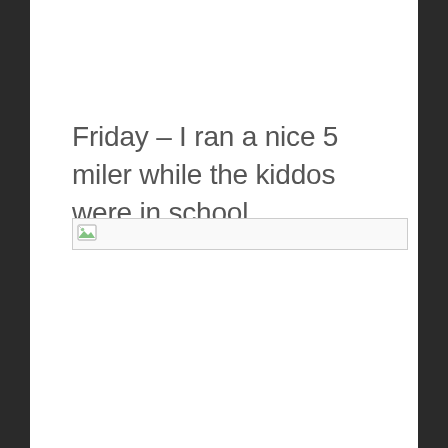Friday – I ran a nice 5 miler while the kiddos were in school.
[Figure (photo): Broken image placeholder — a small image icon with a torn corner, inside a bordered rectangle, indicating a missing/unloaded image.]